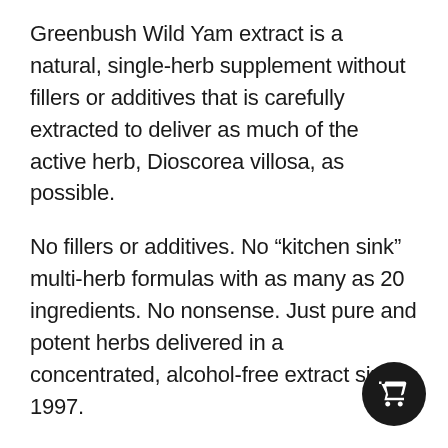Greenbush Wild Yam extract is a natural, single-herb supplement without fillers or additives that is carefully extracted to deliver as much of the active herb, Dioscorea villosa, as possible.
No fillers or additives. No “kitchen sink” multi-herb formulas with as many as 20 ingredients. No nonsense. Just pure and potent herbs delivered in a concentrated, alcohol-free extract since 1997.
Wild Yam Extract
Often used as a natural alternative t… estrogen therapy, wild yam extract may